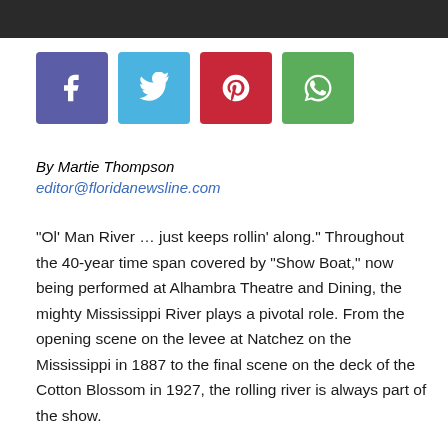[Figure (other): Dark header bar at top of page]
[Figure (other): Social media sharing buttons: Facebook (purple), Twitter (blue), Pinterest (red), WhatsApp (green)]
By Martie Thompson
editor@floridanewsline.com
“Ol’ Man River … just keeps rollin’ along.” Throughout the 40-year time span covered by “Show Boat,” now being performed at Alhambra Theatre and Dining, the mighty Mississippi River plays a pivotal role. From the opening scene on the levee at Natchez on the Mississippi in 1887 to the final scene on the deck of the Cotton Blossom in 1927, the rolling river is always part of the show.
“Show Boat,” with music by Jerome Kern and book and lyrics by Oscar Hammerstein II, is based on the novel of the same